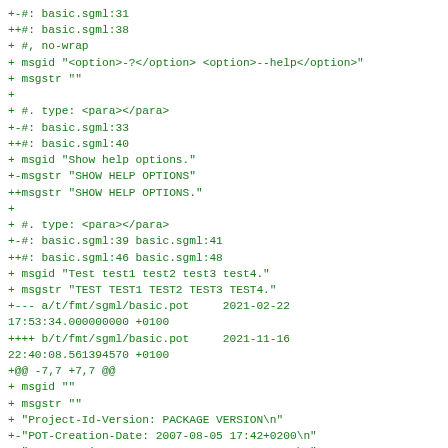+-#: basic.sgml:31
++#: basic.sgml:38
+ #, no-wrap
+ msgid "<option>-?</option> <option>--help</option>"
+ msgstr ""
+
+ #. type: <para></para>
+-#: basic.sgml:33
++#: basic.sgml:40
+ msgid "Show help options."
+-msgstr "SHOW HELP OPTIONS"
++msgstr "SHOW HELP OPTIONS."
+
+ #. type: <para></para>
+-#: basic.sgml:39 basic.sgml:41
++#: basic.sgml:46 basic.sgml:48
+ msgid "Test test1 test2 test3 test4."
+ msgstr "TEST TEST1 TEST2 TEST3 TEST4."
+--- a/t/fmt/sgml/basic.pot     2021-02-22 17:53:34.000000000 +0100
++++ b/t/fmt/sgml/basic.pot     2021-11-16 22:40:08.561394570 +0100
+@@ -7,7 +7,7 @@
+ msgid ""
+ msgstr ""
+ "Project-Id-Version: PACKAGE VERSION\n"
+-"POT-Creation-Date: 2007-08-05 17:42+0200\n"
++"POT-Creation-Date: 2021-11-16 22:40+0100\n"
+ "PO-Revision-Date: YEAR-MO-DA HO:MI+ZONE\n"
+ "Last-Translator: FULL NAME <EMAIL@ADDRESS>\n"